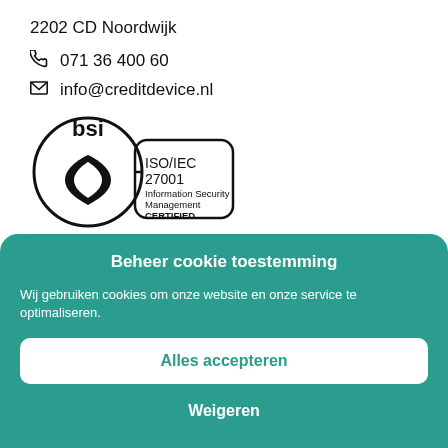2202 CD Noordwijk
071 36 400 60
info@creditdevice.nl
[Figure (logo): BSI ISO/IEC 27001 Information Security Management CERTIFIED logo]
Beheer cookie toestemming
Wij gebruiken cookies om onze website en onze service te optimaliseren.
Alles accepteren
Weigeren